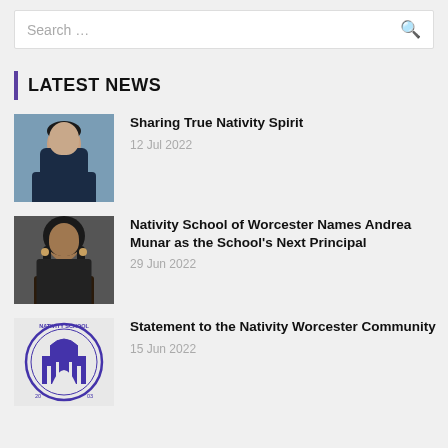Search ...
LATEST NEWS
[Figure (photo): Headshot of a young man in a dark suit and tie, smiling]
Sharing True Nativity Spirit
12 Jul 2022
[Figure (photo): Headshot of a woman with long dark hair, smiling, wearing a floral top]
Nativity School of Worcester Names Andrea Munar as the School's Next Principal
29 Jun 2022
[Figure (logo): Nativity School logo — circular seal with building and text 'NATIVITY SCHOOL' and years '20' and '03']
Statement to the Nativity Worcester Community
15 Jun 2022